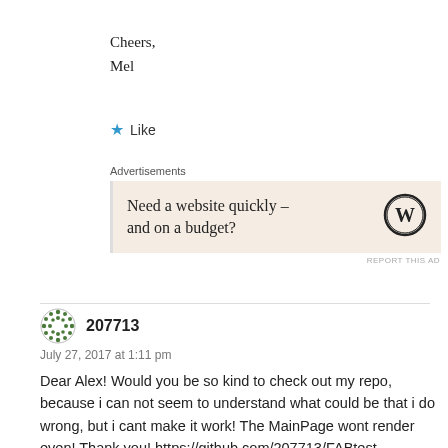Cheers,
Mel
[Figure (other): Like button with blue star icon and text 'Like']
[Figure (other): Advertisement box: 'Need a website quickly – and on a budget?' with WordPress logo]
207713
July 27, 2017 at 1:11 pm
Dear Alex! Would you be so kind to check out my repo, because i can not seem to understand what could be that i do wrong, but i cant make it work! The MainPage wont render even! Thank you! https://github.com/207713/FABtest